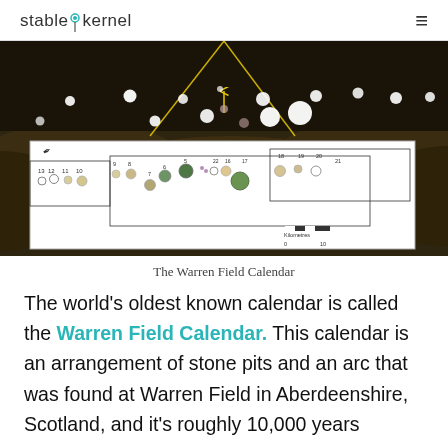stable kernel
[Figure (photo): A composite image showing a 3D rendering of glowing white orbs/circles against a dark landscape (top portion), and a map/diagram of the Warren Field Calendar pit arrangement with numbered positions and a scale bar showing 0-10 kilometres (bottom portion).]
The Warren Field Calendar
The world's oldest known calendar is called the Warren Field Calendar. This calendar is an arrangement of stone pits and an arc that was found at Warren Field in Aberdeenshire, Scotland, and it's roughly 10,000 years